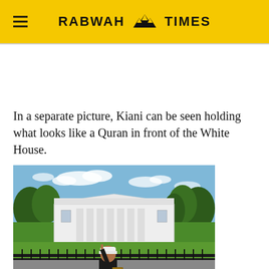RABWAH TIMES
In a separate picture, Kiani can be seen holding what looks like a Quran in front of the White House.
[Figure (photo): A man wearing a white cap and dark jacket stands in front of the White House fence, holding what appears to be a book (Quran) in one hand and raising one finger with the other. The White House is visible in the background surrounded by trees, under a partly cloudy sky. Metal barriers are visible in the foreground.]